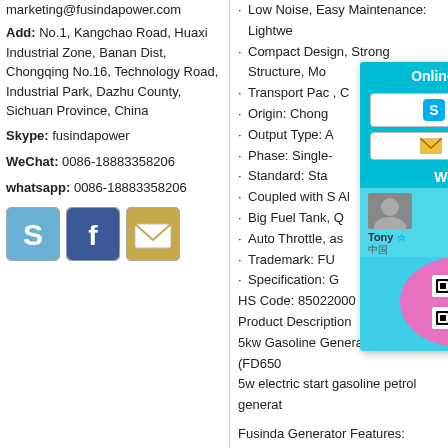marketing@fusindapower.com
Add: No.1, Kangchao Road, Huaxi Industrial Zone, Banan Dist, Chongqing No.16, Technology Road, Industrial Park, Dazhu County, Sichuan Province, China
Skype: fusindapower
WeChat: 0086-18883358206
whatsapp: 0086-18883358206
[Figure (infographic): Social media icons: Skype, Facebook, Email]
Low Noise, Easy Maintenance: Lightwe...
Compact Design, Strong Structure, Mo...
Transport Pac...
Origin: Chong...
Output Type: A...
Phase: Single-...
Standard: Sta...
Coupled with S... Al...
Big Fuel Tank, Q...
Auto Throttle, ... as...
Trademark: FU...
Specification: G...
HS Code: 85022000
Product Description
5kw Gasoline Generator Petrol (FD650...
5w electric start gasoline petrol generat...
Fusinda Generator Features:
[Figure (screenshot): Online service popup with Skype and E-MAIL buttons, Wechat section with Tony profile and QR code]